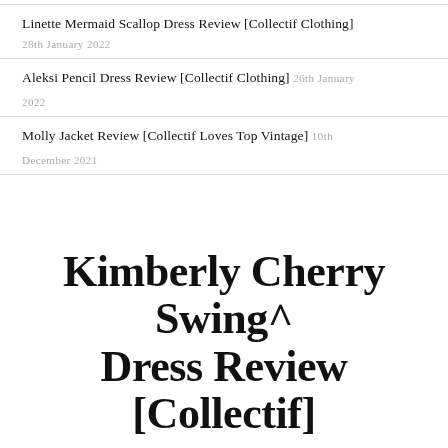Linette Mermaid Scallop Dress Review [Collectif Clothing]
28th January 2022
Aleksi Pencil Dress Review [Collectif Clothing] 26th January 2022
Molly Jacket Review [Collectif Loves Top Vintage] 10th December 2021
Kimberly Cherry Swing Dress Review [Collectif]